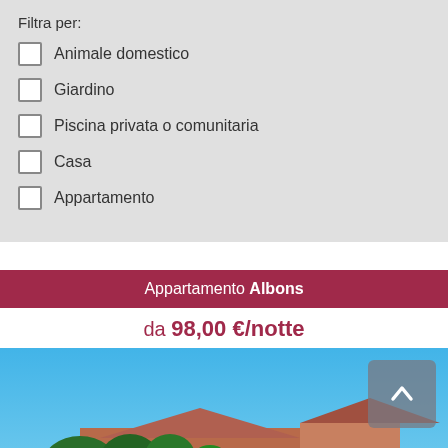Filtra per:
Animale domestico
Giardino
Piscina privata o comunitaria
Casa
Appartamento
Appartamento Albons
da 98,00 €/notte
[Figure (photo): Exterior photo of apartment building Albons with blue sky and trees in foreground, with a navigation arrow button overlay.]